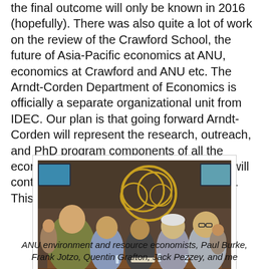the final outcome will only be known in 2016 (hopefully). There was also quite a lot of work on the review of the Crawford School, the future of Asia-Pacific economics at ANU, economics at Crawford and ANU etc. The Arndt-Corden Department of Economics is officially a separate organizational unit from IDEC. Our plan is that going forward Arndt-Corden will represent the research, outreach, and PhD program components of all the economics activity at Crawford and IDEC will continue as the masters teaching program. This too is a work in progress.
[Figure (photo): Five men seated around a restaurant table, smiling at the camera. Background shows decorative gold ring art on a brown wall and a TV screen. The men are ANU environment and resource economists.]
ANU environment and resource economists, Paul Burke, Frank Jotzo, Quentin Grafton, Jack Pezzey, and me